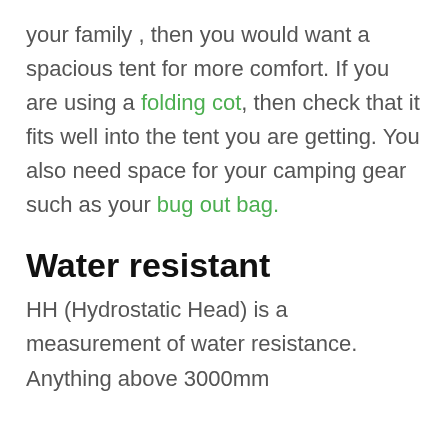your family , then you would want a spacious tent for more comfort. If you are using a folding cot, then check that it fits well into the tent you are getting. You also need space for your camping gear such as your bug out bag.
Water resistant
HH (Hydrostatic Head) is a measurement of water resistance. Anything above 3000mm